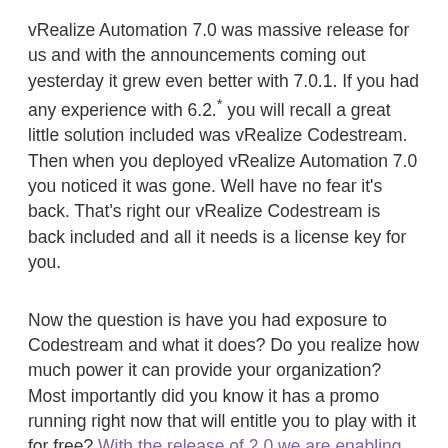vRealize Automation 7.0 was massive release for us and with the announcements coming out yesterday it grew even better with 7.0.1. If you had any experience with 6.2.* you will recall a great little solution included was vRealize Codestream. Then when you deployed vRealize Automation 7.0 you noticed it was gone. Well have no fear it's back. That's right our vRealize Codestream is back included and all it needs is a license key for you.
Now the question is have you had exposure to Codestream and what it does? Do you realize how much power it can provide your organization? Most importantly did you know it has a promo running right now that will entitle you to play with it for free? With the release of 2.0 we are enabling anyone who buys a qualifying license of another product to a free 1 CPU count and 1 year of support for vRealize Codestream!